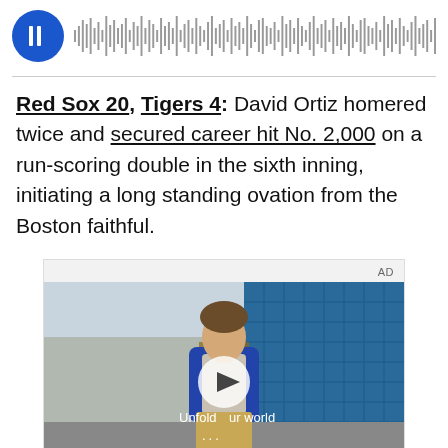[Figure (other): Audio player with blue circular play button and waveform visualization]
Red Sox 20, Tigers 4: David Ortiz homered twice and secured career hit No. 2,000 on a run-scoring double in the sixth inning, initiating a long standing ovation from the Boston faithful.
[Figure (screenshot): Advertisement video showing a young man in a denim jacket standing in a store with blue tile walls. Play button overlay with text 'Unfold your world' and AD label.]